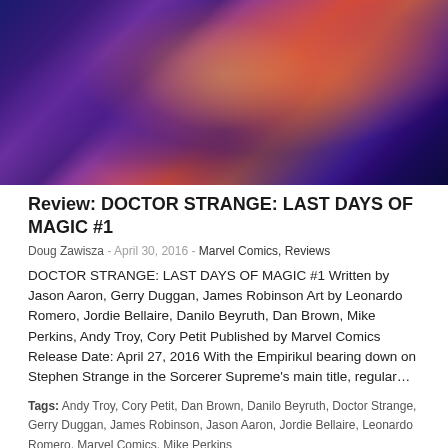[Figure (illustration): Comic book art showing Doctor Strange in dramatic action pose with colorful magical energy, purple, red, and orange hues]
Review: DOCTOR STRANGE: LAST DAYS OF MAGIC #1
Doug Zawisza - April 30, 2016 - Marvel Comics, Reviews
DOCTOR STRANGE: LAST DAYS OF MAGIC #1 Written by Jason Aaron, Gerry Duggan, James Robinson Art by Leonardo Romero, Jordie Bellaire, Danilo Beyruth, Dan Brown, Mike Perkins, Andy Troy, Cory Petit Published by Marvel Comics Release Date: April 27, 2016 With the Empirikul bearing down on Stephen Strange in the Sorcerer Supreme's main title, regular…
Tags: Andy Troy, Cory Petit, Dan Brown, Danilo Beyruth, Doctor Strange, Gerry Duggan, James Robinson, Jason Aaron, Jordie Bellaire, Leonardo Romero, Marvel Comics, Mike Perkins